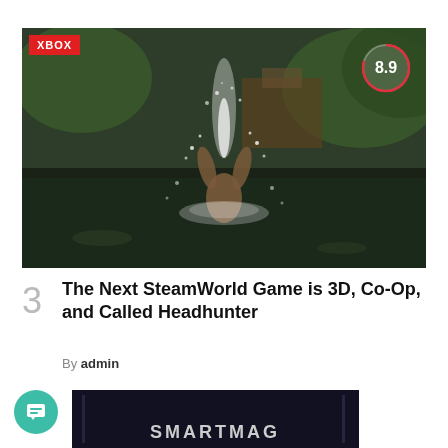[Figure (photo): Person jumping out of water with hands clasped above head, creating a water splash, in a tropical garden pool setting]
XBOX
[Figure (other): Rating score circle showing 8.9 with red arc border]
3
The Next SteamWorld Game is 3D, Co-Op, and Called Headhunter
By admin
[Figure (photo): Dark screenshot showing SMARTMAG text at bottom, appears to be a game or media screenshot]